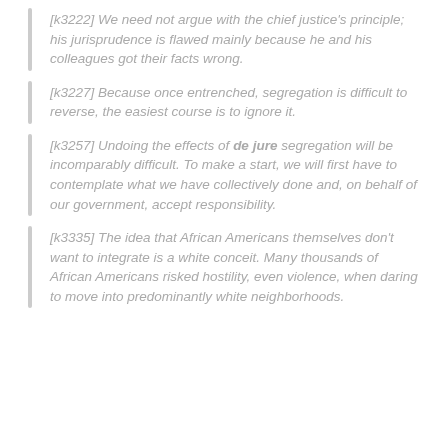[k3222] We need not argue with the chief justice's principle; his jurisprudence is flawed mainly because he and his colleagues got their facts wrong.
[k3227] Because once entrenched, segregation is difficult to reverse, the easiest course is to ignore it.
[k3257] Undoing the effects of de jure segregation will be incomparably difficult. To make a start, we will first have to contemplate what we have collectively done and, on behalf of our government, accept responsibility.
[k3335] The idea that African Americans themselves don't want to integrate is a white conceit. Many thousands of African Americans risked hostility, even violence, when daring to move into predominantly white neighborhoods.